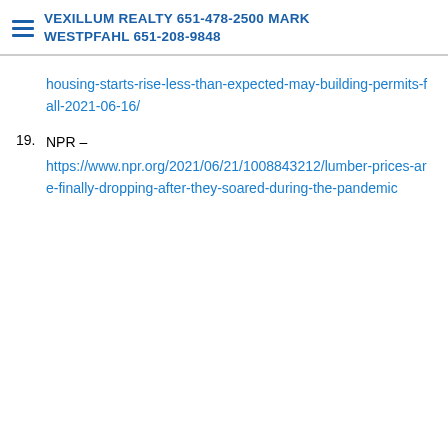VEXILLUM REALTY 651-478-2500 MARK WESTPFAHL 651-208-9848
housing-starts-rise-less-than-expected-may-building-permits-fall-2021-06-16/
19. NPR – https://www.npr.org/2021/06/21/1008843212/lumber-prices-are-finally-dropping-after-they-soared-during-the-pandemic